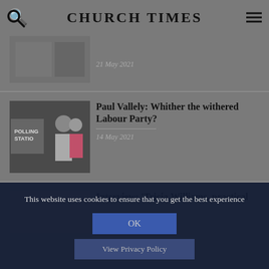CHURCH TIMES
[Figure (photo): Partially visible article thumbnail at top]
21 May 2021
Paul Vallely: Whither the withered Labour Party?
14 May 2021
Interview: 'Tricia Williams, practical
This website uses cookies to ensure that you get the best experience
OK
View Privacy Policy